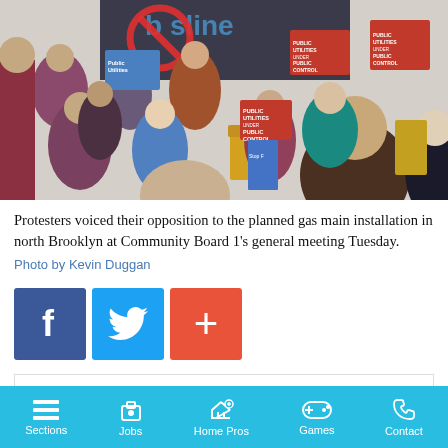[Figure (photo): Indoor crowd scene showing protesters at a community board meeting, many holding red and blue signs reading 'Public Utilities Under Public Control', with a large red circle-slash protest sign visible at the back.]
Protesters voiced their opposition to the planned gas main installation in north Brooklyn at Community Board 1's general meeting Tuesday.
Photo by Kevin Duggan
[Figure (infographic): Three social media share buttons: Facebook (dark blue with f icon), Twitter (light blue with bird icon), and a red plus button for more sharing options.]
Sign up for our amNY Sports email newsletter to get insights
Sections   Jobs   Home Pros   Games   Contact